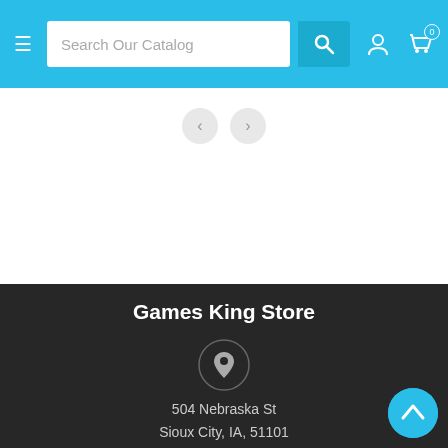Search Our Catalog — navigation header with hamburger menu, search box, user icon, cart icon (0)
[Figure (screenshot): Carousel navigation dots/arrows on white background]
Games King Store
[Figure (illustration): Location pin icon inside a circle on dark background]
504 Nebraska St
Sioux City, IA, 51101
United States
[Figure (illustration): Phone/call icon inside a circle on dark background]
712-224-4238